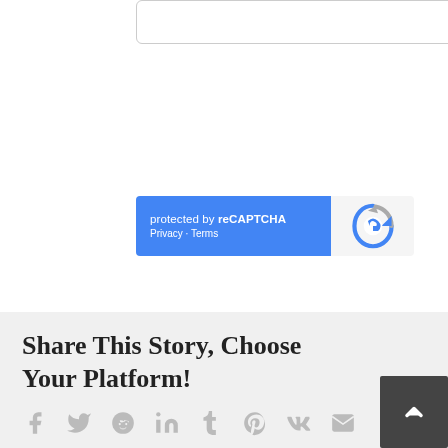[Figure (screenshot): Textarea input box with resize handle at bottom right]
[Figure (screenshot): reCAPTCHA widget with blue left panel showing 'protected by reCAPTCHA' and 'Privacy · Terms', and right panel with reCAPTCHA logo]
[Figure (screenshot): Blue rounded Submit button]
Share This Story, Choose Your Platform!
[Figure (infographic): Social sharing icons row: Facebook, Twitter, Reddit, LinkedIn, Tumblr, Pinterest, VK, Email, with a dark scroll-to-top arrow button on the right]